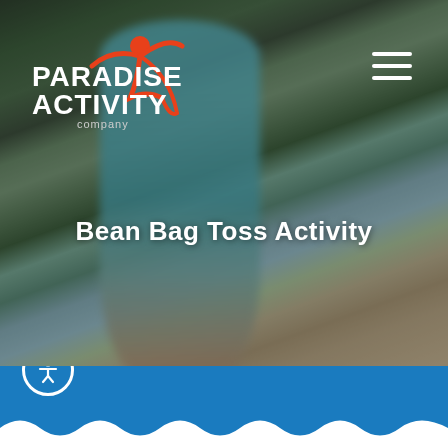[Figure (photo): Blurred outdoor background photo showing a person in blue clothing doing an activity, with trees and sandy ground. Paradise Activity Company website header image for Bean Bag Toss Activity page.]
Bean Bag Toss Activity
[Figure (logo): Paradise Activity Company logo: red figure with arms raised above white text PARADISE ACTIVITY company, with red curved swoosh]
[Figure (infographic): Blue footer bar with white wave pattern at bottom and accessibility icon button (person in circle) on left side]